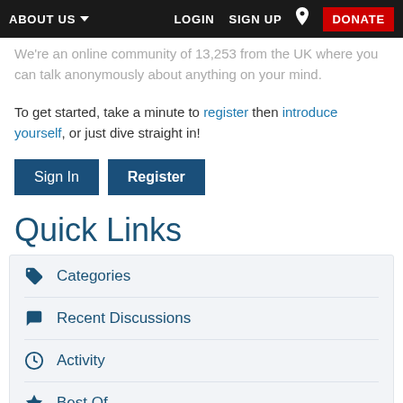ABOUT US  LOGIN  SIGN UP  DONATE
We're an online community of 13,253 from the UK where you can talk anonymously about anything on your mind.
To get started, take a minute to register then introduce yourself, or just dive straight in!
Sign In
Register
Quick Links
Categories
Recent Discussions
Activity
Best Of...